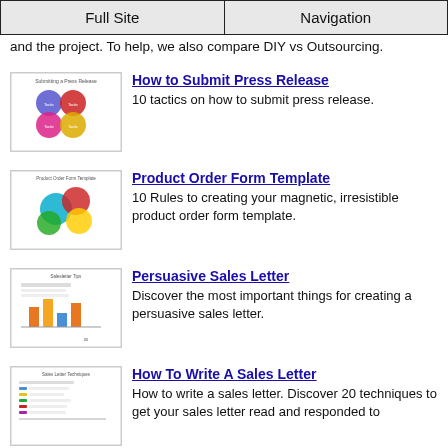Full Site | Navigation
and the project. To help, we also compare DIY vs Outsourcing.
[Figure (illustration): Thumbnail image of press release circles diagram]
How to Submit Press Release
10 tactics on how to submit press release.
[Figure (illustration): Thumbnail image of product order form template with colored circles]
Product Order Form Template
10 Rules to creating your magnetic, irresistible product order form template.
[Figure (illustration): Thumbnail image of persuasive sales letter with bar chart]
Persuasive Sales Letter
Discover the most important things for creating a persuasive sales letter.
[Figure (illustration): Thumbnail image of sales letter techniques with bullet list]
How To Write A Sales Letter
How to write a sales letter. Discover 20 techniques to get your sales letter read and responded to
[Figure (illustration): Thumbnail image of headline helpers]
Headline Helpers